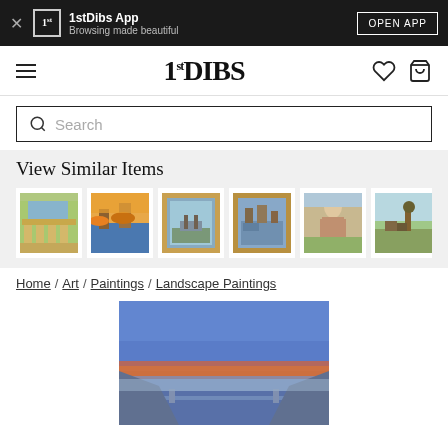1stDibs App – Browsing made beautiful – OPEN APP
1stDIBS
Search
View Similar Items
[Figure (photo): Thumbnail images of similar painting listings on 1stDibs marketplace]
Home / Art / Paintings / Landscape Paintings
[Figure (photo): Landscape painting showing a mountainous coastal scene at dusk with blue sky and orange-pink clouds near the horizon]